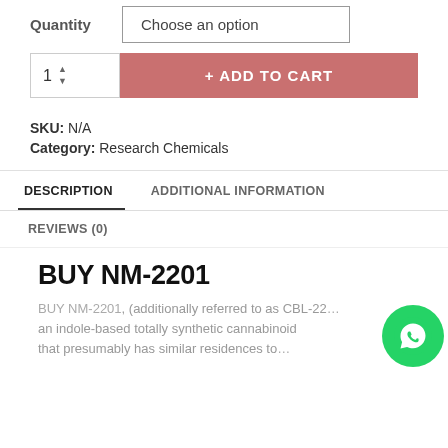Quantity   Choose an option
1  + ADD TO CART
SKU: N/A
Category: Research Chemicals
DESCRIPTION   ADDITIONAL INFORMATION
REVIEWS (0)
BUY NM-2201
BUY NM-2201, (additionally referred to as CBL-22… an indole-based totally synthetic cannabinoid that presumably has similar residences to…